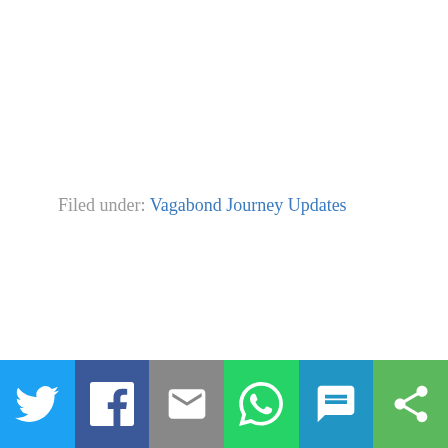Filed under: Vagabond Journey Updates
[Figure (infographic): Social sharing bar with 6 buttons: Twitter (light blue), Facebook (dark blue), Email (gray), WhatsApp (green), SMS (blue), and a share/other button (green). Each button contains a white icon.]